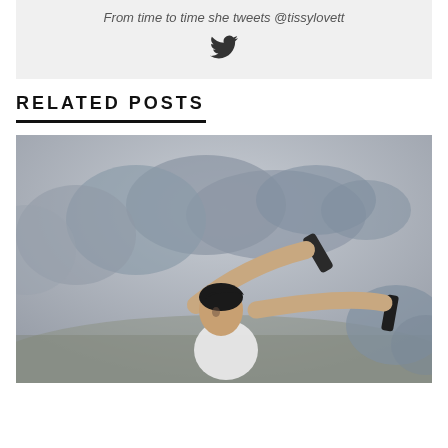From time to time she tweets @tissylovett
[Figure (other): Twitter bird icon]
RELATED POSTS
[Figure (photo): Woman holding smoke grenade canisters with dark grey smoke billowing against an overcast outdoor background]